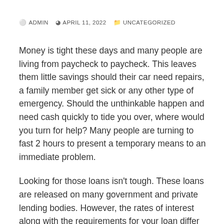ADMIN   APRIL 11, 2022   UNCATEGORIZED
Money is tight these days and many people are living from paycheck to paycheck. This leaves them little savings should their car need repairs, a family member get sick or any other type of emergency. Should the unthinkable happen and need cash quickly to tide you over, where would you turn for help? Many people are turning to fast 2 hours to present a temporary means to an immediate problem.
Looking for those loans isn't tough. These loans are released on many government and private lending bodies. However, the rates of interest along with the requirements for your loan differ considerably 1 company yet another. So, make it an argument to check thoroughly what each company has to offer. Within a little searching, you...